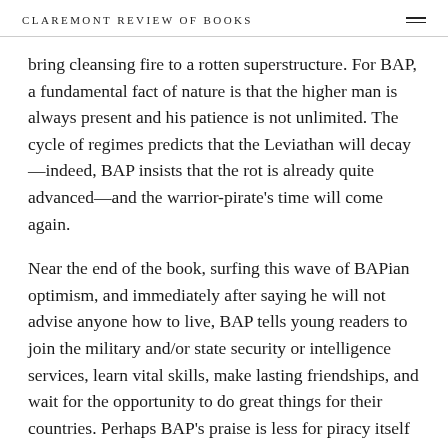CLAREMONT REVIEW OF BOOKS
bring cleansing fire to a rotten superstructure. For BAP, a fundamental fact of nature is that the higher man is always present and his patience is not unlimited. The cycle of regimes predicts that the Leviathan will decay—indeed, BAP insists that the rot is already quite advanced—and the warrior-pirate's time will come again.
Near the end of the book, surfing this wave of BAPian optimism, and immediately after saying he will not advise anyone how to live, BAP tells young readers to join the military and/or state security or intelligence services, learn vital skills, make lasting friendships, and wait for the opportunity to do great things for their countries. Perhaps BAP's praise is less for piracy itself than for